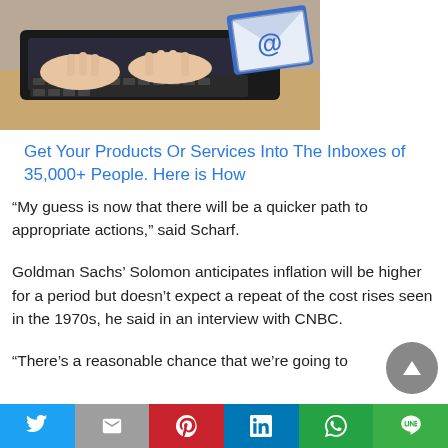[Figure (photo): Person typing on a laptop keyboard with an email envelope icon in the background]
Get Your Products Or Services Into The Inboxes of 35,000+ People. Here is How
“My guess is now that there will be a quicker path to appropriate actions,” said Scharf.
Goldman Sachs’ Solomon anticipates inflation will be higher for a period but doesn’t expect a repeat of the cost rises seen in the 1970s, he said in an interview with CNBC.
“There’s a reasonable chance that we’re going to
Twitter  Mail  Pinterest  LinkedIn  WhatsApp  LINE